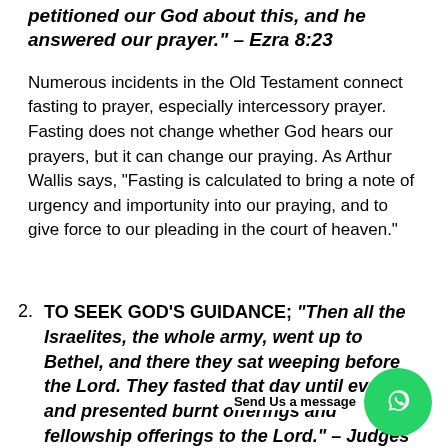petitioned our God about this, and he answered our prayer." – Ezra 8:23
Numerous incidents in the Old Testament connect fasting to prayer, especially intercessory prayer. Fasting does not change whether God hears our prayers, but it can change our praying. As Arthur Wallis says, "Fasting is calculated to bring a note of urgency and importunity into our praying, and to give force to our pleading in the court of heaven."
2. TO SEEK GOD'S GUIDANCE; "Then all the Israelites, the whole army, went up to Bethel, and there they sat weeping before the Lord. They fasted that day until evening and presented burnt offerings and fellowship offerings to the Lord." – Judges 20:26